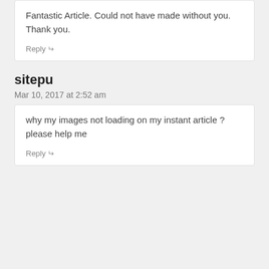Fantastic Article. Could not have made without you. Thank you.
Reply
sitepu
Mar 10, 2017 at 2:52 am
why my images not loading on my instant article ?
please help me
Reply